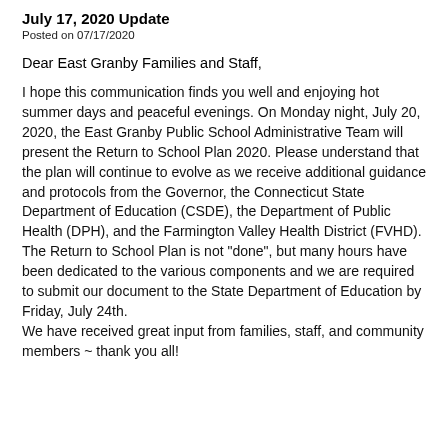July 17, 2020 Update
Posted on 07/17/2020
Dear East Granby Families and Staff,
I hope this communication finds you well and enjoying hot summer days and peaceful evenings. On Monday night, July 20, 2020, the East Granby Public School Administrative Team will present the Return to School Plan 2020. Please understand that the plan will continue to evolve as we receive additional guidance and protocols from the Governor, the Connecticut State Department of Education (CSDE), the Department of Public Health (DPH), and the Farmington Valley Health District (FVHD). The Return to School Plan is not "done", but many hours have been dedicated to the various components and we are required to submit our document to the State Department of Education by Friday, July 24th.
We have received great input from families, staff, and community members ~ thank you all!